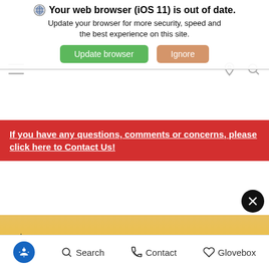Your web browser (iOS 11) is out of date. Update your browser for more security, speed and the best experience on this site.
Update browser | Ignore
If you have any questions, comments or concerns, please click here to Contact Us!
[Figure (photo): A gray sedan car parked on a road/overlook with a woman standing beside it, trees and warm sunset sky in the background]
Search | Contact | Glovebox